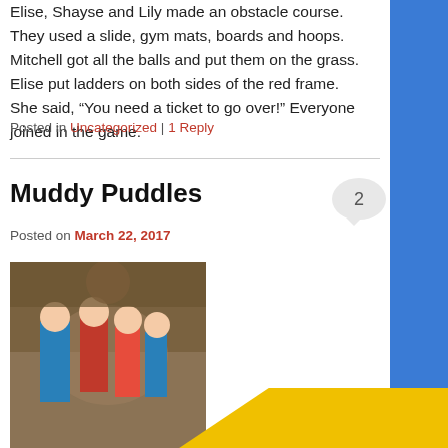Elise, Shayse and Lily made an obstacle course. They used a slide, gym mats, boards and hoops. Mitchell got all the balls and put them on the grass. Elise put ladders on both sides of the red frame. She said, “You need a ticket to go over!” Everyone joined in the game.
Posted in Uncategorized | 1 Reply
Muddy Puddles
Posted on March 22, 2017
[Figure (photo): Children playing outdoors, viewed from above, near a tree]